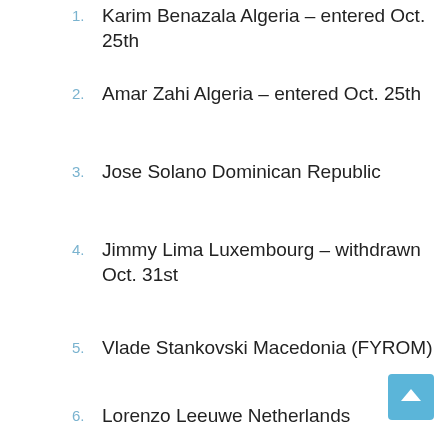1. Karim Benazala Algeria – entered Oct. 25th
2. Amar Zahi Algeria – entered Oct. 25th
3. Jose Solano Dominican Republic
4. Jimmy Lima Luxembourg – withdrawn Oct. 31st
5. Vlade Stankovski Macedonia (FYROM)
6. Lorenzo Leeuwe Netherlands
7. Joan Cannegieter Netherlands
8. Izzeddin Seyoury Palestine
9. Vladislav Kuznetcov Russia